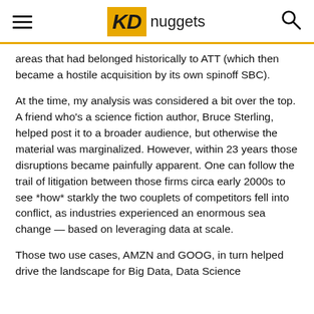KDnuggets
areas that had belonged historically to ATT (which then became a hostile acquisition by its own spinoff SBC).
At the time, my analysis was considered a bit over the top. A friend who’s a science fiction author, Bruce Sterling, helped post it to a broader audience, but otherwise the material was marginalized. However, within 23 years those disruptions became painfully apparent. One can follow the trail of litigation between those firms circa early 2000s to see *how* starkly the two couplets of competitors fell into conflict, as industries experienced an enormous sea change — based on leveraging data at scale.
Those two use cases, AMZN and GOOG, in turn helped drive the landscape for Big Data, Data Science